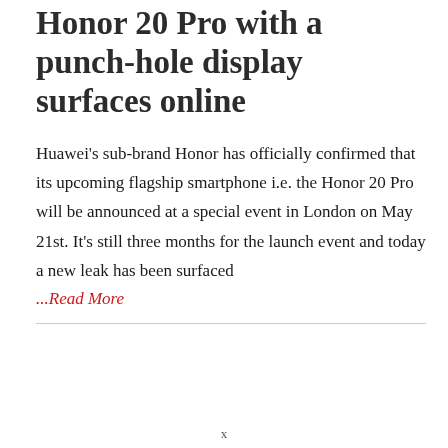Honor 20 Pro with a punch-hole display surfaces online
Huawei's sub-brand Honor has officially confirmed that its upcoming flagship smartphone i.e. the Honor 20 Pro will be announced at a special event in London on May 21st. It's still three months for the launch event and today a new leak has been surfaced
...Read More